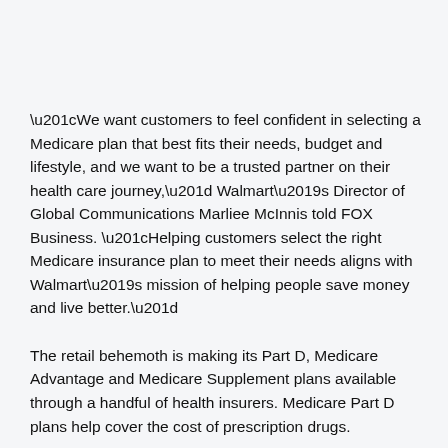“We want customers to feel confident in selecting a Medicare plan that best fits their needs, budget and lifestyle, and we want to be a trusted partner on their health care journey,” Walmart’s Director of Global Communications Marliee McInnis told FOX Business. “Helping customers select the right Medicare insurance plan to meet their needs aligns with Walmart’s mission of helping people save money and live better.”
The retail behemoth is making its Part D, Medicare Advantage and Medicare Supplement plans available through a handful of health insurers. Medicare Part D plans help cover the cost of prescription drugs.
Among the existing national and regional health insurers working with Walmart are: Humana, UnitedHealthcare,